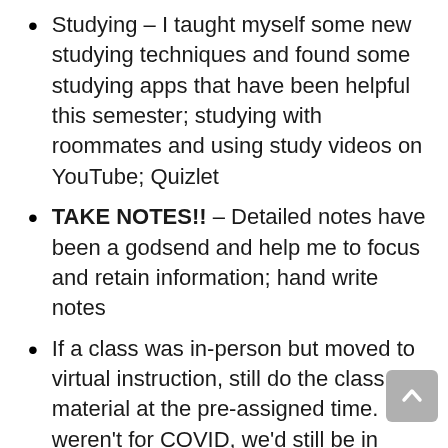Studying – I taught myself some new studying techniques and found some studying apps that have been helpful this semester; studying with roommates and using study videos on YouTube; Quizlet
TAKE NOTES!! – Detailed notes have been a godsend and help me to focus and retain information; hand write notes
If a class was in-person but moved to virtual instruction, still do the class material at the pre-assigned time. If it weren't for COVID, we'd still be in classes at certain times and it helps to keep you accountable
The ability to ask all questions through chat makes me feel more confident then asking questions in-person
External resources – Learning coaches, my